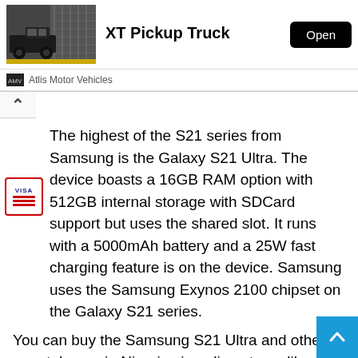[Figure (photo): Ad banner showing XT Pickup Truck by Atlis Motor Vehicles with an Open button]
The highest of the S21 series from Samsung is the Galaxy S21 Ultra. The device boasts a 16GB RAM option with 512GB internal storage with SDCard support but uses the shared slot. It runs with a 5000mAh battery and a 25W fast charging feature is on the device. Samsung uses the Samsung Exynos 2100 chipset on the Galaxy S21 series.
You can buy the Samsung S21 Ultra and other smartphones in Nigeria via online stores like Jumia and Konga. Stores offer from Jumia Nigeria and Konga Nig...